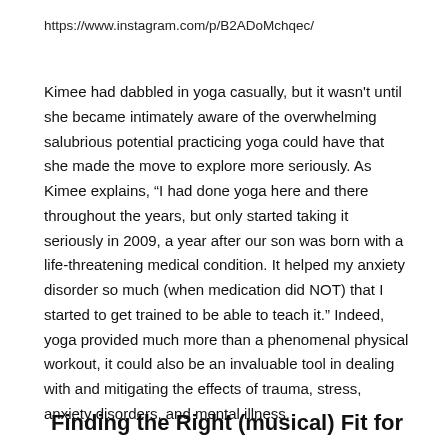https://www.instagram.com/p/B2ADoMchqec/
Kimee had dabbled in yoga casually, but it wasn't until she became intimately aware of the overwhelming salubrious potential practicing yoga could have that she made the move to explore more seriously. As Kimee explains, “I had done yoga here and there throughout the years, but only started taking it seriously in 2009, a year after our son was born with a life-threatening medical condition. It helped my anxiety disorder so much (when medication did NOT) that I started to get trained to be able to teach it.” Indeed, yoga provided much more than a phenomenal physical workout, it could also be an invaluable tool in dealing with and mitigating the effects of trauma, stress, anxiety disorders, and mental illness.
Finding the Right (musical) Fit for